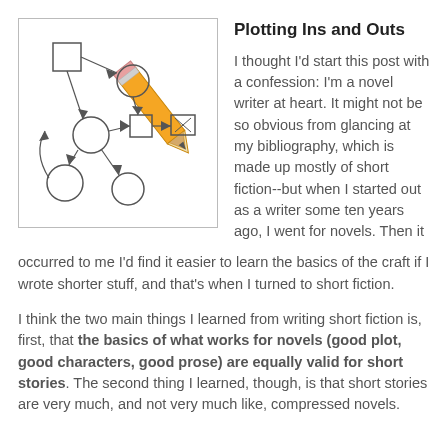[Figure (flowchart): A flowchart diagram with squares and circles connected by arrows, overlaid with a pencil image in the upper right.]
Plotting Ins and Outs
I thought I'd start this post with a confession: I'm a novel writer at heart. It might not be so obvious from glancing at my bibliography, which is made up mostly of short fiction--but when I started out as a writer some ten years ago, I went for novels. Then it occurred to me I'd find it easier to learn the basics of the craft if I wrote shorter stuff, and that's when I turned to short fiction.
I think the two main things I learned from writing short fiction is, first, that the basics of what works for novels (good plot, good characters, good prose) are equally valid for short stories. The second thing I learned, though, is that short stories are very much, and not very much like, compressed novels.